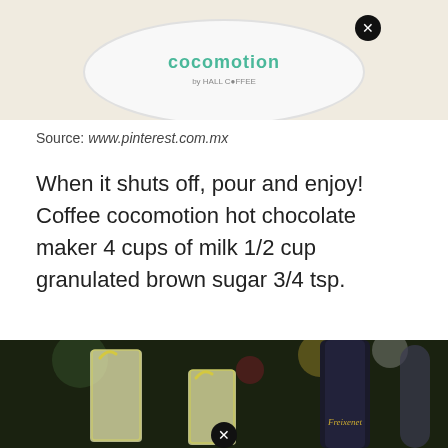[Figure (photo): White plate with Cocomotion logo by Hall Coffee, on a light beige background, with a close/remove button overlay]
Source: www.pinterest.com.mx
When it shuts off, pour and enjoy! Coffee cocomotion hot chocolate maker 4 cups of milk 1/2 cup granulated brown sugar 3/4 tsp.
[Figure (photo): Two tall glasses filled with pale yellow lemon drink garnished with lemon peel twists, next to a dark bottle labeled Freixenet, on a dark bokeh background. Close button overlay at bottom center.]